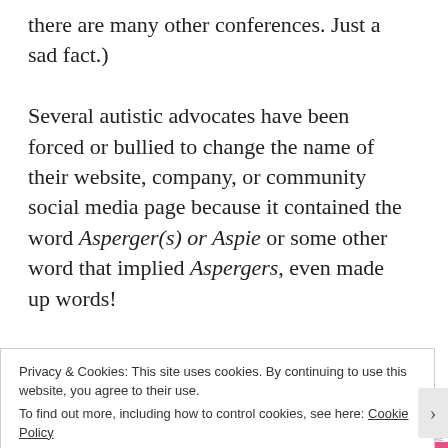there are many other conferences. Just a sad fact.)
Several autistic advocates have been forced or bullied to change the name of their website, company, or community social media page because it contained the word Asperger(s) or Aspie or some other word that implied Aspergers, even made up words!
Some well-meaning autistic individuals (or Aspies)
Privacy & Cookies: This site uses cookies. By continuing to use this website, you agree to their use.
To find out more, including how to control cookies, see here: Cookie Policy
Close and accept